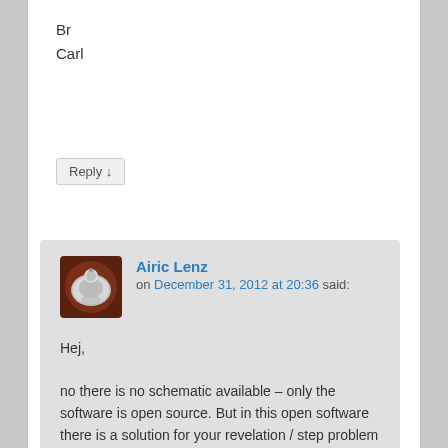Br
Carl
Reply ↓
Airic Lenz on December 31, 2012 at 20:36 said:
Hej,

no there is no schematic available – only the software is open source. But in this open software there is a solution for your revelation / step problem as there is a calibration variable which sets an amount of steps for 1cm of movement. In the CineMoco user interface you handle distances and no steps. This feature is actually not implemented in the original miniE as there is only very little flash space